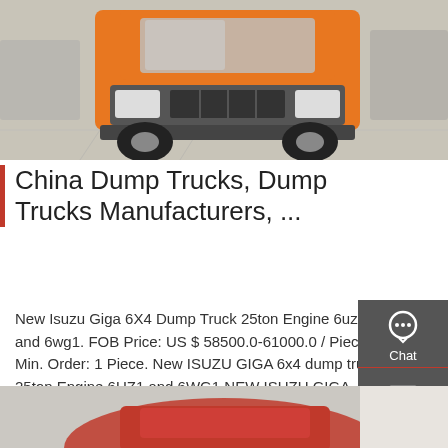[Figure (photo): Front view of an orange dump truck/heavy vehicle parked in a yard, seen from a low angle showing the cab and front grille.]
China Dump Trucks, Dump Trucks Manufacturers, ...
New Isuzu Giga 6X4 Dump Truck 25ton Engine 6uz1 and 6wg1. FOB Price: US $ 58500.0-61000.0 / Piece Min. Order: 1 Piece. New ISUZU GIGA 6x4 dump truck 25ton Engine 6UZ1 and 6WG1 NEW ISUZU GIGA SERIES HEAVY TRACTOR TRUCK STARTED PRODUCTION SINCE THE YEAR 2017 IN CHINA.IT IS EQUAL TO JAPAN ISUZU GIGA
[Figure (screenshot): Sidebar with icons for Chat, Email, Contact, and Top navigation buttons on a dark gray background.]
[Figure (photo): Partial view of a red truck/vehicle at the bottom of the page.]